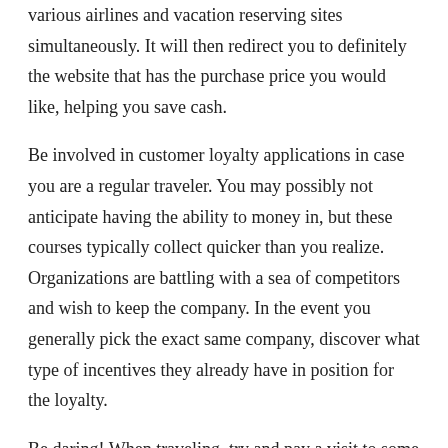various airlines and vacation reserving sites simultaneously. It will then redirect you to definitely the website that has the purchase price you would like, helping you save cash.
Be involved in customer loyalty applications in case you are a regular traveler. You may possibly not anticipate having the ability to money in, but these courses typically collect quicker than you realize. Organizations are battling with a sea of competitors and wish to keep the company. In the event you generally pick the exact same company, discover what type of incentives they already have in position for the loyalty.
Be daring! When traveling, try and pay a visit to some places that are off of the defeated course. This will help you to expertise several of the local customs. It's generally exciting to try out new and different meals and also expertise interesting things! You will be able to fondly reminisce onto it later on.
Well before your road journey commences, consider how much